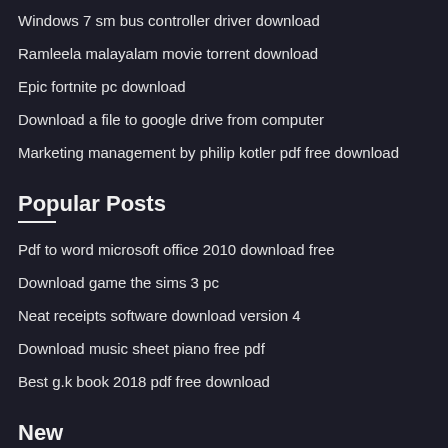Windows 7 sm bus controller driver download
Ramleela malayalam movie torrent download
Epic fortnite pc download
Download a file to google drive from computer
Marketing management by philip kotler pdf free download
Popular Posts
Pdf to word microsoft office 2010 download free
Download game the sims 3 pc
Neat receipts software download version 4
Download music sheet piano free pdf
Best g.k book 2018 pdf free download
New